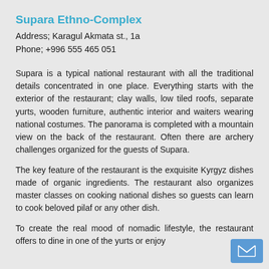Supara Ethno-Complex
Address; Karagul Akmata st., 1a
Phone; +996 555 465 051
Supara is a typical national restaurant with all the traditional details concentrated in one place. Everything starts with the exterior of the restaurant; clay walls, low tiled roofs, separate yurts, wooden furniture, authentic interior and waiters wearing national costumes. The panorama is completed with a mountain view on the back of the restaurant. Often there are archery challenges organized for the guests of Supara.
The key feature of the restaurant is the exquisite Kyrgyz dishes made of organic ingredients. The restaurant also organizes master classes on cooking national dishes so guests can learn to cook beloved pilaf or any other dish.
To create the real mood of nomadic lifestyle, the restaurant offers to dine in one of the yurts or enjoy